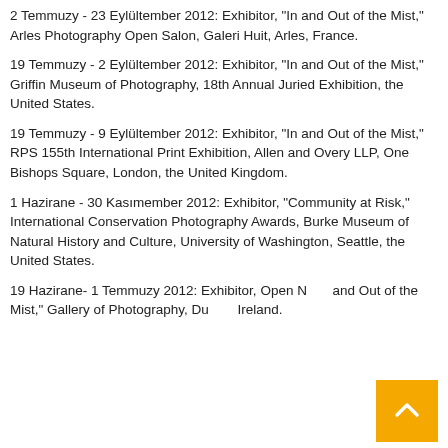2 Temmuzy - 23 Eylültember 2012: Exhibitor, "In and Out of the Mist," Arles Photography Open Salon, Galeri Huit, Arles, France.
19 Temmuzy - 2 Eylültember 2012: Exhibitor, "In and Out of the Mist," Griffin Museum of Photography, 18th Annual Juried Exhibition, the United States.
19 Temmuzy - 9 Eylültember 2012: Exhibitor, "In and Out of the Mist," RPS 155th International Print Exhibition, Allen and Overy LLP, One Bishops Square, London, the United Kingdom.
1 Hazirane - 30 Kasımember 2012: Exhibitor, "Community at Risk," International Conservation Photography Awards, Burke Museum of Natural History and Culture, University of Washington, Seattle, the United States.
19 Hazirane- 1 Temmuzy 2012: Exhibitor, Open N... and Out of the Mist," Gallery of Photography, Du... Ireland.